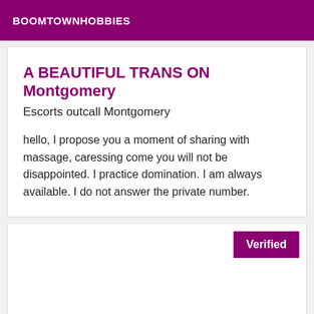BOOMTOWNHOBBIES
A BEAUTIFUL TRANS ON Montgomery
Escorts outcall Montgomery
hello, I propose you a moment of sharing with massage, caressing come you will not be disappointed. I practice domination. I am always available. I do not answer the private number.
Verified